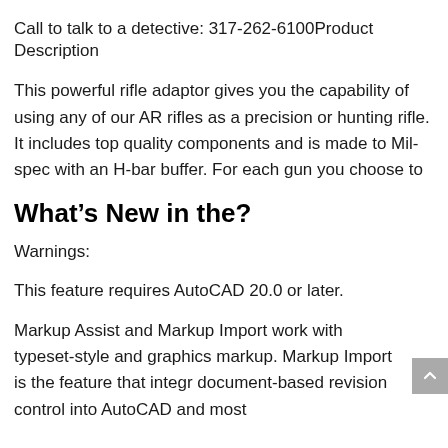Call to talk to a detective: 317-262-6100Product Description
This powerful rifle adaptor gives you the capability of using any of our AR rifles as a precision or hunting rifle. It includes top quality components and is made to Mil-spec with an H-bar buffer. For each gun you choose to
What’s New in the?
Warnings:
This feature requires AutoCAD 20.0 or later.
Markup Assist and Markup Import work with typeset-style and graphics markup. Markup Import is the feature that integr document-based revision control into AutoCAD and most